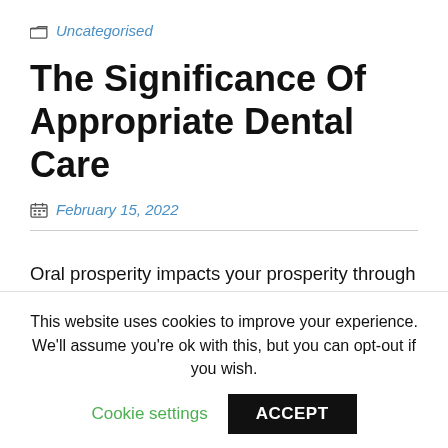Uncategorised
The Significance Of Appropriate Dental Care
February 15, 2022
Oral prosperity impacts your prosperity through affinities that are often disregarded. Your mouth can show extraordinary prosperity all through your body, offering hints of defilements or ailments before you get extra signs. A segment that is routinely ignored in your
This website uses cookies to improve your experience. We'll assume you're ok with this, but you can opt-out if you wish.